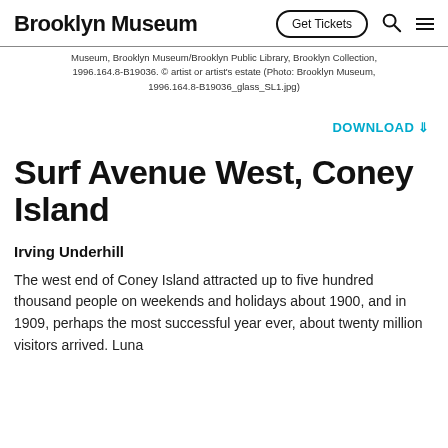Brooklyn Museum | Get Tickets
Museum, Brooklyn Museum/Brooklyn Public Library, Brooklyn Collection, 1996.164.8-B19036. © artist or artist's estate (Photo: Brooklyn Museum, 1996.164.8-B19036_glass_SL1.jpg)
DOWNLOAD ⇓
Surf Avenue West, Coney Island
Irving Underhill
The west end of Coney Island attracted up to five hundred thousand people on weekends and holidays about 1900, and in 1909, perhaps the most successful year ever, about twenty million visitors arrived. Luna